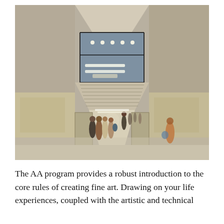[Figure (photo): Interior photograph of a large modern museum or public building hall with high concrete walls, a glass mezzanine level with pendant lights, linear ceiling lights below, and groups of people walking through the grand corridor. The perspective leads deep into the space with natural light visible at the far end.]
The AA program provides a robust introduction to the core rules of creating fine art. Drawing on your life experiences, coupled with the artistic and technical